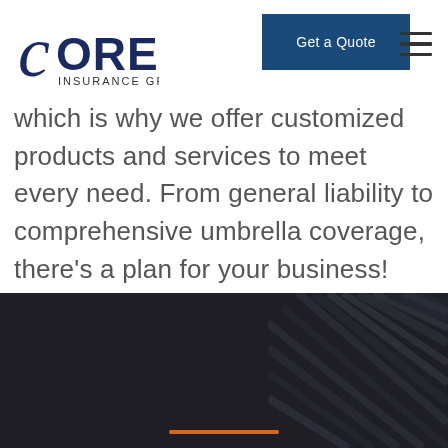Core Insurance Group — Get a Quote
which is why we offer customized products and services to meet every need. From general liability to comprehensive umbrella coverage, there's a plan for your business!
[Figure (photo): Dark section at the bottom of the page with a textured dark background (diagonal lines/ridges visible on the right side) and an orange horizontal accent line near the bottom center.]